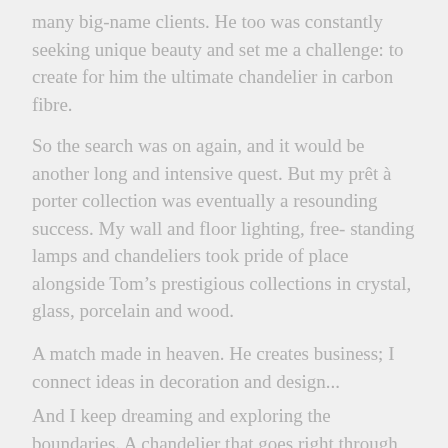many big-name clients. He too was constantly seeking unique beauty and set me a challenge: to create for him the ultimate chandelier in carbon fibre.
So the search was on again, and it would be another long and intensive quest. But my prêt à porter collection was eventually a resounding success. My wall and floor lighting, free- standing lamps and chandeliers took pride of place alongside Tom's prestigious collections in crystal, glass, porcelain and wood.
A match made in heaven. He creates business; I connect ideas in decoration and design...
And I keep dreaming and exploring the boundaries. A chandelier that goes right through glass, 30 by 20